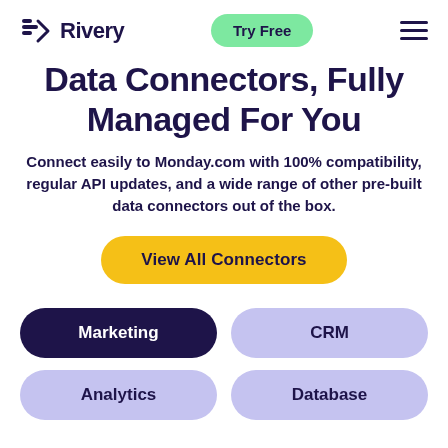Rivery — Try Free
Data Connectors, Fully Managed For You
Connect easily to Monday.com with 100% compatibility, regular API updates, and a wide range of other pre-built data connectors out of the box.
View All Connectors
Marketing
CRM
Analytics
Database